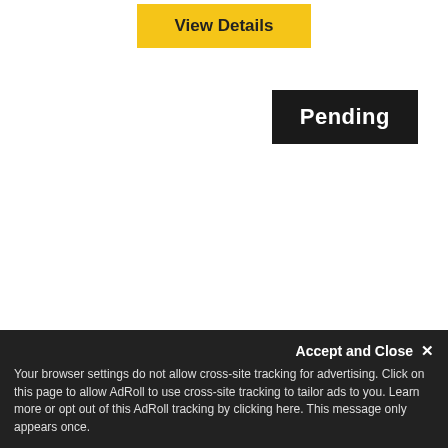View Details
Pending
$600,000
Indianapolis, IN, 46220
4 Beds   4 Baths
View Details
Accept and Close ✕
Your browser settings do not allow cross-site tracking for advertising. Click on this page to allow AdRoll to use cross-site tracking to tailor ads to you. Learn more or opt out of this AdRoll tracking by clicking here. This message only appears once.